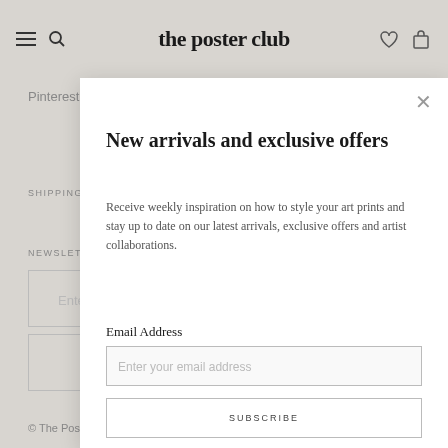the poster club
Pinterest
SHIPPING TO:
NEWSLETTER
New arrivals and exclusive offers
Receive weekly inspiration on how to style your art prints and stay up to date on our latest arrivals, exclusive offers and artist collaborations.
Email Address
Enter your email address
SUBSCRIBE
© The Poster Club 2022